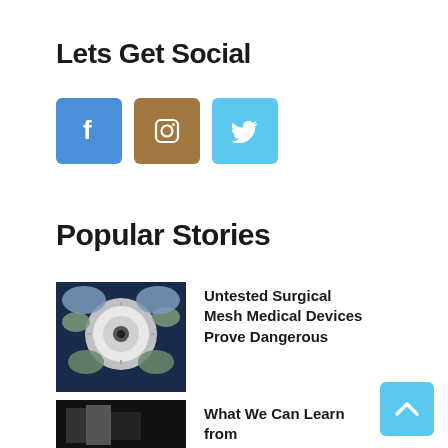Lets Get Social
[Figure (illustration): Social media icons: Facebook (blue), Instagram (brown), Twitter (light blue)]
Popular Stories
[Figure (illustration): Illustration of a surgical scene viewed from above, showing a surgeon and operating light]
Untested Surgical Mesh Medical Devices Prove Dangerous
[Figure (photo): Partially visible image at bottom of page]
What We Can Learn from